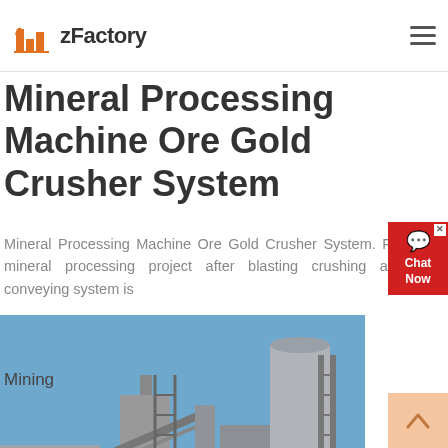zFactory
Mineral Processing Machine Ore Gold Crusher System
Mineral Processing Machine Ore Gold Crusher System. For mineral processing project after blasting crushing and conveying system is
[Figure (photo): Industrial mineral processing facility with large metal structures, conveyors, silos, and scaffolding against a blue sky]
Mining
[Figure (photo): Rocky terrain or quarry material photographed outdoors]